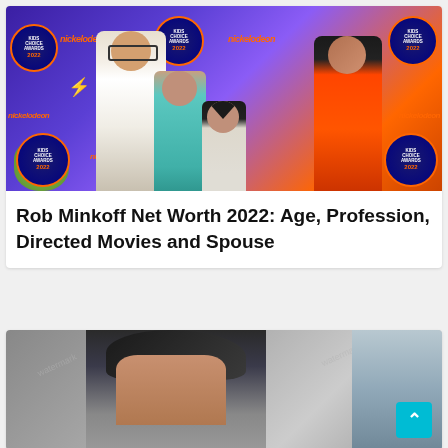[Figure (photo): Family photo at Nickelodeon Kids Choice Awards 2022 backdrop. Shows a man in white blazer, woman in orange dress, and two children posing on the orange carpet.]
Rob Minkoff Net Worth 2022: Age, Profession, Directed Movies and Spouse
[Figure (photo): Partial photo of a young man with styled dark hair, appearing to be getting out of or leaning against a car.]